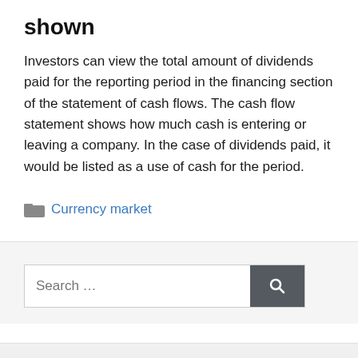shown
Investors can view the total amount of dividends paid for the reporting period in the financing section of the statement of cash flows. The cash flow statement shows how much cash is entering or leaving a company. In the case of dividends paid, it would be listed as a use of cash for the period.
Currency market
Search ...